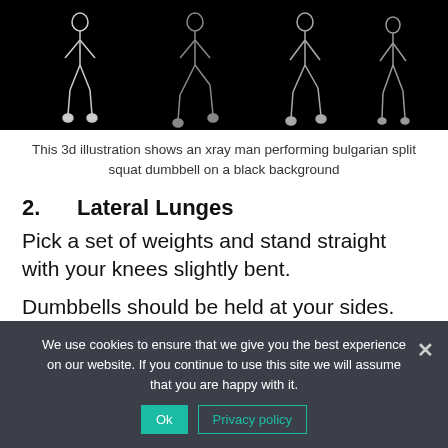[Figure (illustration): Black background image showing xray/skeleton man performing bulgarian split squat dumbbell exercise, multiple figures shown across the image]
This 3d illustration shows an xray man performing bulgarian split squat dumbbell on a black background
2.	Lateral Lunges
Pick a set of weights and stand straight with your knees slightly bent.
Dumbbells should be held at your sides. You have arrived at the starting point.
Squat down with your hips and step out towards
We use cookies to ensure that we give you the best experience on our website. If you continue to use this site we will assume that you are happy with it.